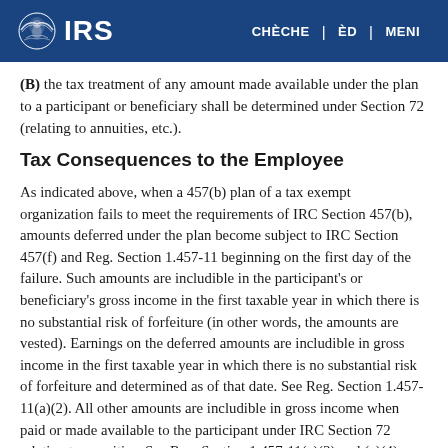IRS | CHÈCHE | ÈD | MENI
(B) the tax treatment of any amount made available under the plan to a participant or beneficiary shall be determined under Section 72 (relating to annuities, etc.).
Tax Consequences to the Employee
As indicated above, when a 457(b) plan of a tax exempt organization fails to meet the requirements of IRC Section 457(b), amounts deferred under the plan become subject to IRC Section 457(f) and Reg. Section 1.457-11 beginning on the first day of the failure. Such amounts are includible in the participant's or beneficiary's gross income in the first taxable year in which there is no substantial risk of forfeiture (in other words, the amounts are vested). Earnings on the deferred amounts are includible in gross income in the first taxable year in which there is no substantial risk of forfeiture and determined as of that date. See Reg. Section 1.457-11(a)(2). All other amounts are includible in gross income when paid or made available to the participant under IRC Section 72 relating to annuities. See Reg. Section 1.457-11(a)(3) and (a)(4)